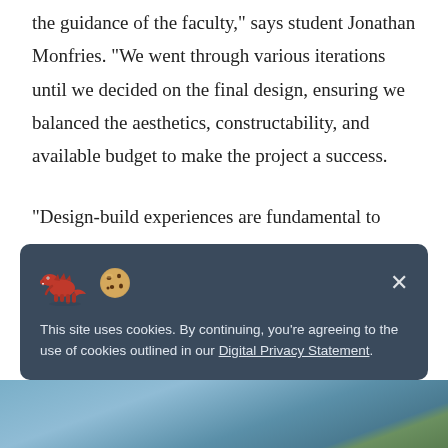the guidance of the faculty," says student Jonathan Monfries. "We went through various iterations until we decided on the final design, ensuring we balanced the aesthetics, constructability, and available budget to make the project a success.
"Design-build experiences are fundamental to architectural education. As students, being able to work through various iterations of the design, to make real-world decisions, and to work with contractors to assemble the design we proposed provides a learning opportunity not possible in a
[Figure (screenshot): Cookie consent banner with dark blue-grey background, showing a red dinosaur and cookie emoji icons on the left, an X close button on the right, and text reading: 'This site uses cookies. By continuing, you're agreeing to the use of cookies outlined in our Digital Privacy Statement.']
[Figure (photo): Partial view of an outdoor photo showing sky and landscape at the bottom of the page.]